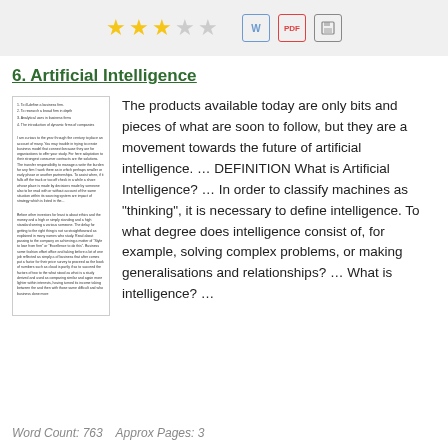★★★☆☆  [W] [PDF] [Save]
6. Artificial Intelligence
[Figure (other): Thumbnail of a document page with small unreadable text about Artificial Intelligence]
The products available today are only bits and pieces of what are soon to follow, but they are a movement towards the future of artificial intelligence. … DEFINITION What is Artificial Intelligence? … In order to classify machines as "thinking", it is necessary to define intelligence. To what degree does intelligence consist of, for example, solving complex problems, or making generalisations and relationships? … What is intelligence? …
Word Count: 763    Approx Pages: 3